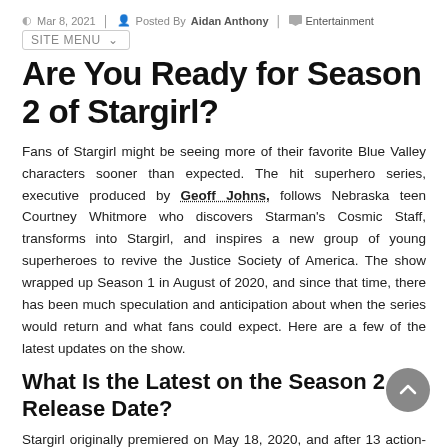Mar 8, 2021  Posted By Aidan Anthony  Entertainment
Are You Ready for Season 2 of Stargirl?
Fans of Stargirl might be seeing more of their favorite Blue Valley characters sooner than expected. The hit superhero series, executive produced by Geoff Johns, follows Nebraska teen Courtney Whitmore who discovers Starman's Cosmic Staff, transforms into Stargirl, and inspires a new group of young superheroes to revive the Justice Society of America. The show wrapped up Season 1 in August of 2020, and since that time, there has been much speculation and anticipation about when the series would return and what fans could expect. Here are a few of the latest updates on the show.
What Is the Latest on the Season 2 Release Date?
Stargirl originally premiered on May 18, 2020, and after 13 action-packed episodes, the season ended three months later with an exciting finale that left fans wanting more. The series was officially renewed for a second season, and filming began on October 28, 2020.
It has been announced that Season 2 will be broadcast exclusively on